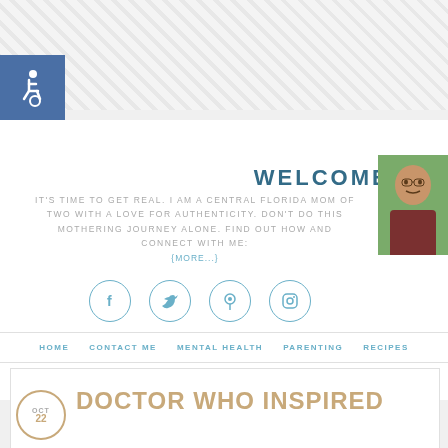[Figure (illustration): Accessibility wheelchair icon in white on blue square background]
WELCOME!
IT'S TIME TO GET REAL. I AM A CENTRAL FLORIDA MOM OF TWO WITH A LOVE FOR AUTHENTICITY. DON'T DO THIS MOTHERING JOURNEY ALONE. FIND OUT HOW AND CONNECT WITH ME: {MORE...}
[Figure (photo): Portrait photo of a woman with glasses and brown hair outdoors]
[Figure (infographic): Social media icons in circles: Facebook, Twitter, Pinterest, Instagram]
HOME   CONTACT ME   MENTAL HEALTH   PARENTING   RECIPES
DOCTOR WHO INSPIRED